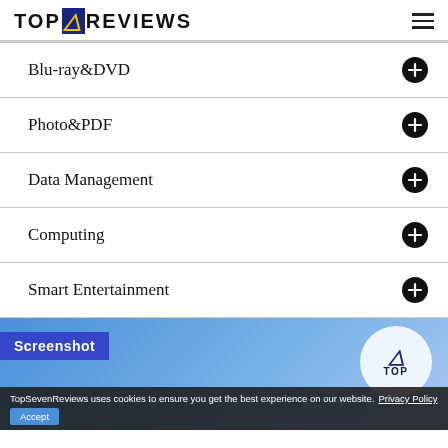TOP 4 REVIEWS
Blu-ray&DVD
Photo&PDF
Data Management
Computing
Smart Entertainment
[Figure (screenshot): Screenshot section showing TopSevenReviews website with a blue gradient background, a 'Screenshot' label in blue box, and a circular TOP logo with lightning bolt on the right. A cookie consent banner appears at the bottom reading: 'TopSevenReviews uses cookies to ensure you get the best experience on our website.' with Privacy Policy link and Accept button.]